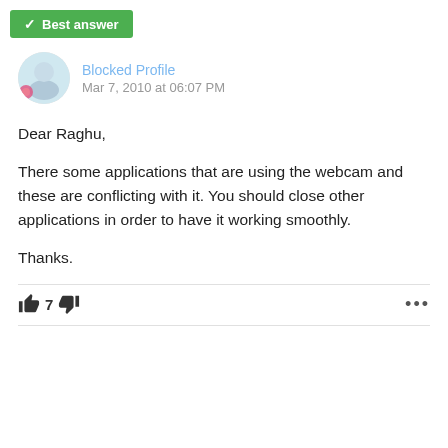Best answer
Blocked Profile
Mar 7, 2010 at 06:07 PM
Dear Raghu,

There some applications that are using the webcam and these are conflicting with it. You should close other applications in order to have it working smoothly.

Thanks.